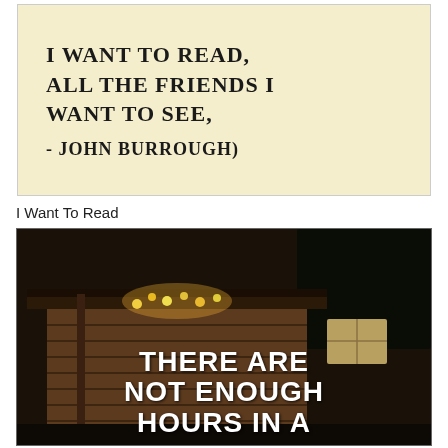[Figure (photo): Handwritten note on yellow paper reading 'I WANT TO READ, ALL THE FRIENDS I WANT TO SEE, - JOHN BURROUGH)']
I Want To Read
[Figure (photo): Dark photo of a log cabin at night with string lights, overlaid with bold white text reading 'THERE ARE NOT ENOUGH HOURS IN A']